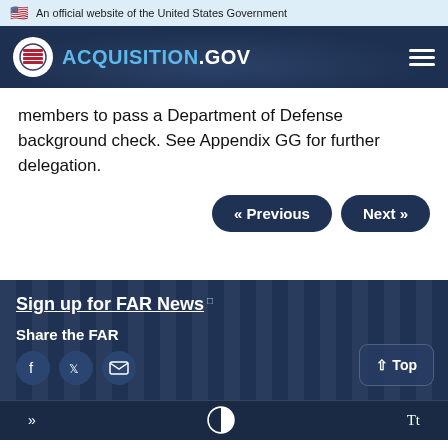An official website of the United States Government
[Figure (logo): Acquisition.gov logo with hamburger menu on dark navy header]
members to pass a Department of Defense background check. See Appendix GG for further delegation.
« Previous   Next »
Sign up for FAR News
Share the FAR
» [contrast icon] Tt